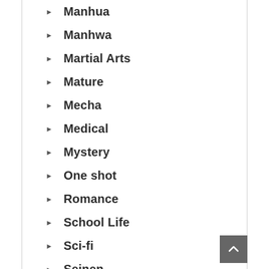Manhua
Manhwa
Martial Arts
Mature
Mecha
Medical
Mystery
One shot
Romance
School Life
Sci-fi
Seinen
Shoujo